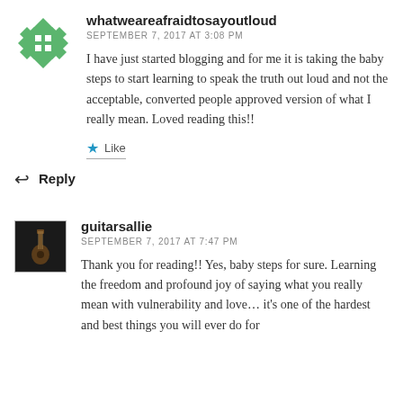[Figure (illustration): Green geometric/snowflake avatar icon for user whatweareafraidtosayoutloud]
whatweareafraidtosayoutloud
SEPTEMBER 7, 2017 AT 3:08 PM
I have just started blogging and for me it is taking the baby steps to start learning to speak the truth out loud and not the acceptable, converted people approved version of what I really mean. Loved reading this!!
Like
Reply
[Figure (photo): Small dark avatar image for user guitarsallie showing a guitar or musical instrument]
guitarsallie
SEPTEMBER 7, 2017 AT 7:47 PM
Thank you for reading!! Yes, baby steps for sure. Learning the freedom and profound joy of saying what you really mean with vulnerability and love… it's one of the hardest and best things you will ever do for